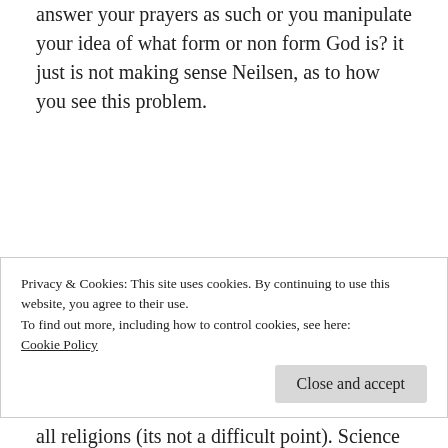answer your prayers as such or you manipulate your idea of what form or non form God is? it just is not making sense Neilsen, as to how you see this problem.
Reply
Robert Nielsen
August 31, 2013 at 12:50 am
Privacy & Cookies: This site uses cookies. By continuing to use this website, you agree to their use.
To find out more, including how to control cookies, see here:
Cookie Policy
Close and accept
all religions (its not a difficult point). Science